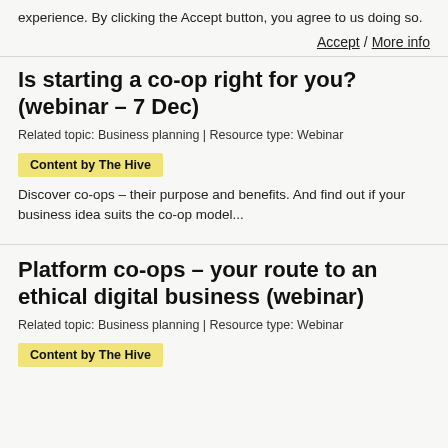experience. By clicking the Accept button, you agree to us doing so.
Accept / More info
Is starting a co-op right for you? (webinar – 7 Dec)
Related topic: Business planning | Resource type: Webinar
Content by The Hive
Discover co-ops – their purpose and benefits. And find out if your business idea suits the co-op model...
Platform co-ops – your route to an ethical digital business (webinar)
Related topic: Business planning | Resource type: Webinar
Content by The Hive